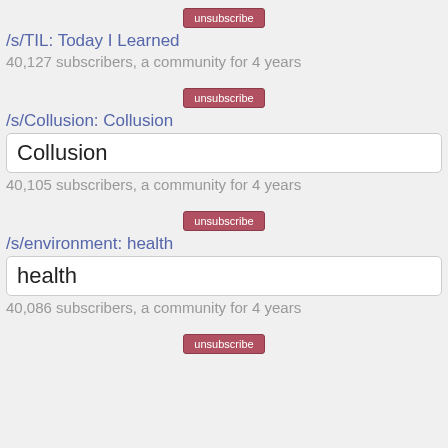[Figure (screenshot): Unsubscribe button for /s/TIL section]
/s/TIL: Today I Learned
40,127 subscribers, a community for 4 years
[Figure (screenshot): Unsubscribe button for /s/Collusion section]
/s/Collusion: Collusion
Collusion
40,105 subscribers, a community for 4 years
[Figure (screenshot): Unsubscribe button for /s/environment section]
/s/environment: health
health
40,086 subscribers, a community for 4 years
[Figure (screenshot): Unsubscribe button partially visible at bottom]